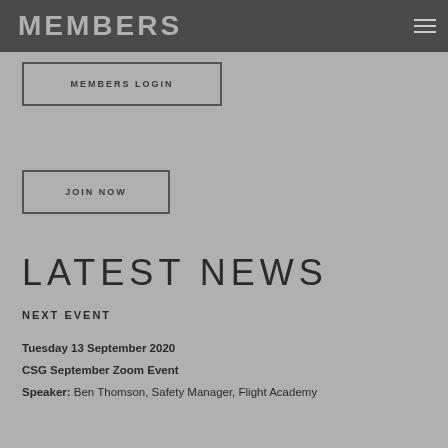MEMBERS
MEMBERS LOGIN
JOIN NOW
LATEST NEWS
NEXT EVENT
Tuesday 13 September 2020
CSG September Zoom Event
Speaker: Ben Thomson, Safety Manager, Flight Academy